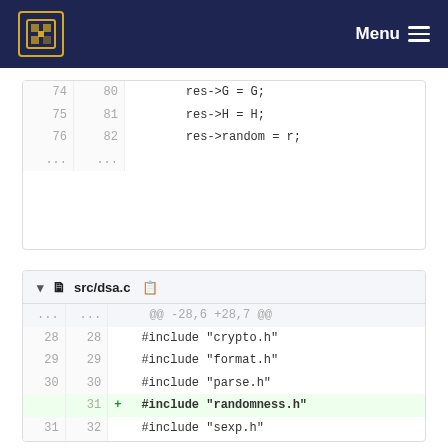Menu
| old | new | code |
| --- | --- | --- |
| 74 | 80 |     res->G = G; |
| 75 | 81 |     res->H = H; |
| 76 | 82 |     res->random = r; |
| ... | ... |  |
src/dsa.c
| old | new | + | code |
| --- | --- | --- | --- |
| ... | ... |  | @@ -28,6 +28,7 @@ |
| 28 | 28 |  | #include "crypto.h" |
| 29 | 29 |  | #include "format.h" |
| 30 | 30 |  | #include "parse.h" |
|  | 31 | + | #include "randomness.h" |
| 31 | 32 |  | #include "sexp.h" |
| 32 | 33 |  | #include "spki.h" |
| 33 | 34 |  | #include "ssh.h" |
| ... | ... |  | @@ -415,6 +416,8 @@ |
|  |  |  | generic_dsa_sign(struct dsa_signer *self, |
| 415 | 416 |  |     mpz_t k, tmp; |
| 416 | 417 |  |  |